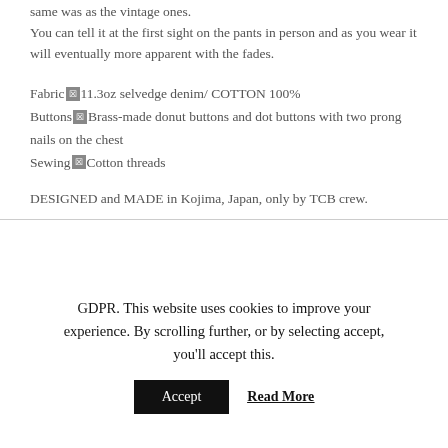same was as the vintage ones. You can tell it at the first sight on the pants in person and as you wear it will eventually more apparent with the fades.
Fabric: 11.3oz selvedge denim/ COTTON 100% Buttons: Brass-made donut buttons and dot buttons with two prong nails on the chest Sewing: Cotton threads
DESIGNED and MADE in Kojima, Japan, only by TCB crew.
GDPR. This website uses cookies to improve your experience. By scrolling further, or by selecting accept, you'll accept this.